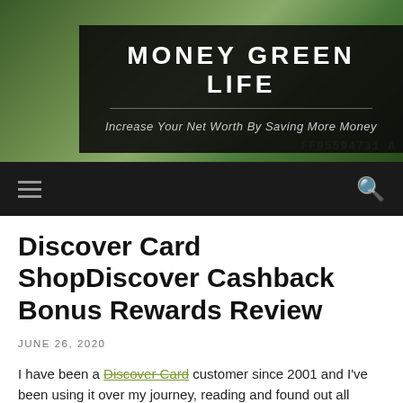[Figure (photo): Website header banner with green/money themed background collage including a family silhouette and currency imagery, with dark overlay box containing site title and tagline]
MONEY GREEN LIFE
Increase Your Net Worth By Saving More Money
navigation bar with hamburger menu and search icon
Discover Card ShopDiscover Cashback Bonus Rewards Review
JUNE 26, 2020
I have been a Discover Card customer since 2001 and I've been using it over my journey, reading and found out all